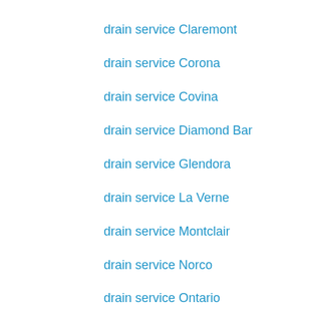drain service Claremont
drain service Corona
drain service Covina
drain service Diamond Bar
drain service Glendora
drain service La Verne
drain service Montclair
drain service Norco
drain service Ontario
drain service Pomona